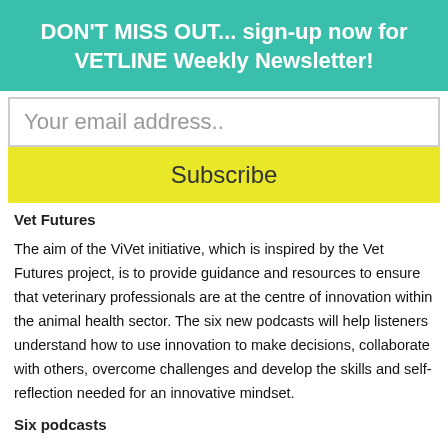DON'T MISS OUT... sign-up now for VETLINE Weekly Newsletter!
Your email address..
Subscribe
Vet Futures
The aim of the ViVet initiative, which is inspired by the Vet Futures project, is to provide guidance and resources to ensure that veterinary professionals are at the centre of innovation within the animal health sector. The six new podcasts will help listeners understand how to use innovation to make decisions, collaborate with others, overcome challenges and develop the skills and self-reflection needed for an innovative mindset.
Six podcasts